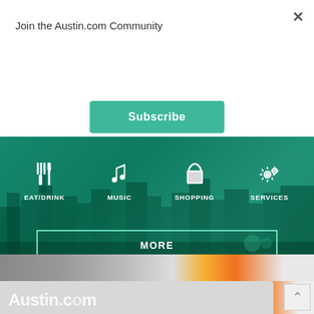×
Join the Austin.com Community
[Figure (other): Green Subscribe button]
[Figure (photo): Austin city skyline with teal/green overlay showing icons for EAT/DRINK, MUSIC, SHOPPING, SERVICES and a MORE button. Text reads: Discover and connect with great companies that serve Austin]
[Figure (photo): Bottom partial strip showing a flower and Austin.com logo text with scroll-up arrow button]